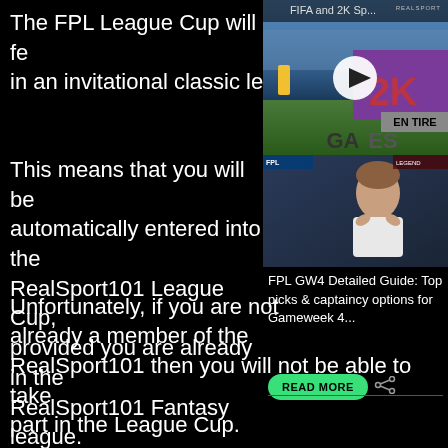The FPL League Cup will fe in an invitational classic le
[Figure (screenshot): Video thumbnail showing FIFA and 2K Sports game footage with a play button overlay, featuring the 2K logo and 'EN TIRE GAMES' text. REALSPORT watermark top right.]
This means that you will be automatically entered into the RealSport101 League Cup, provided you are already in the RealSport101 Fantasy league.
[Figure (photo): Photo of a football player (appears to be Harry Kane) in a Tottenham white kit, appearing to pray or celebrate, with FPL card overlay.]
FPL GW4 Detailed Guide: Top picks & captaincy options for Gameweek 4...
READ MORE
Unfortunately, if you are not already a member of the RealSport101 then you will not be able to take part in the League Cup.